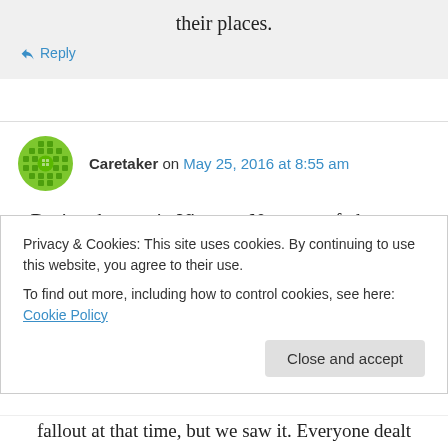their places.
↳ Reply
Caretaker on May 25, 2016 at 8:55 am
During the war in Vietnam Nam your father was stationed at a waiting wive's base. I watched as
Privacy & Cookies: This site uses cookies. By continuing to use this website, you agree to their use.
To find out more, including how to control cookies, see here: Cookie Policy
Close and accept
fallout at that time, but we saw it. Everyone dealt